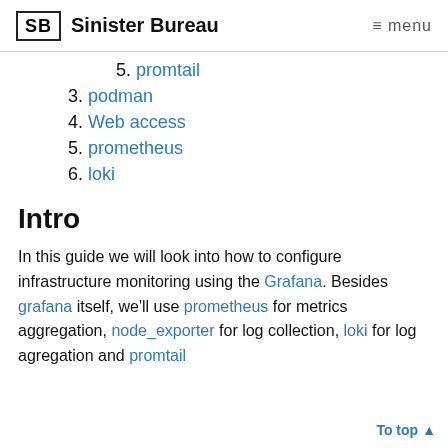SB Sinister Bureau  ≡ menu
5. promtail
3. podman
4. Web access
5. prometheus
6. loki
Intro
In this guide we will look into how to configure infrastructure monitoring using the Grafana. Besides grafana itself, we'll use prometheus for metrics aggregation, node_exporter for log collection, loki for log agregation and promtail